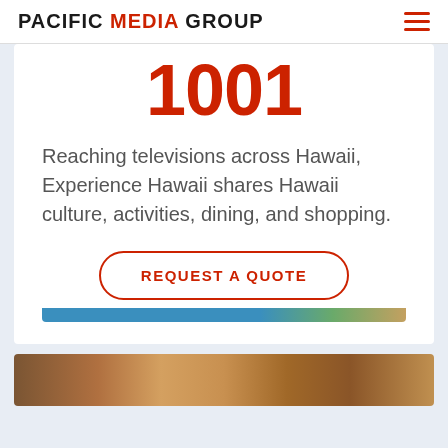PACIFIC MEDIA GROUP
1001
Reaching televisions across Hawaii, Experience Hawaii shares Hawaii culture, activities, dining, and shopping.
REQUEST A QUOTE
[Figure (photo): Colorful image strip at bottom of card]
[Figure (photo): Brown/warm toned image strip at page bottom]